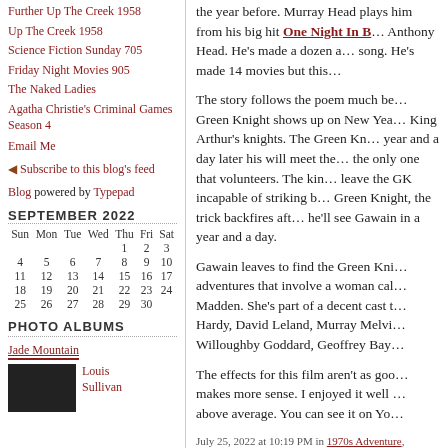Further Up The Creek 1958
Up The Creek 1958
Science Fiction Sunday 705
Friday Night Movies 905
The Naked Ladies
Agatha Christie's Criminal Games Season 4
Email Me
Subscribe to this blog's feed
Blog powered by Typepad
| Sun | Mon | Tue | Wed | Thu | Fri | Sat |
| --- | --- | --- | --- | --- | --- | --- |
|  |  |  |  | 1 | 2 | 3 |
| 4 | 5 | 6 | 7 | 8 | 9 | 10 |
| 11 | 12 | 13 | 14 | 15 | 16 | 17 |
| 18 | 19 | 20 | 21 | 22 | 23 | 24 |
| 25 | 26 | 27 | 28 | 29 | 30 |  |
PHOTO ALBUMS
Jade Mountain
Louis Sullivan
the year before. Murray Head plays him from his big hit One Night In B... Anthony Head. He's made a dozen a... song. He's made 14 movies but this...
The story follows the poem much be... Green Knight shows up on New Yea... King Arthur's knights. The Green Kn... year and a day later his will meet the... the only one that volunteers. The kin... leave the GK incapable of striking b... Green Knight, the trick backfires aft... he'll see Gawain in a year and a day.
Gawain leaves to find the Green Kni... adventures that involve a woman cal... Madden. She's part of a decent cast t... Hardy, David Leland, Murray Melvi... Willoughby Goddard, Geoffrey Bay...
The effects for this film aren't as goo... makes more sense. I enjoyed it well ... above average. You can see it on Yo...
July 25, 2022 at 10:19 PM in 1970s Adventure, 1970... | Permalink | Comments (0)
JULY 24, 2022
The Great Alligator 1979